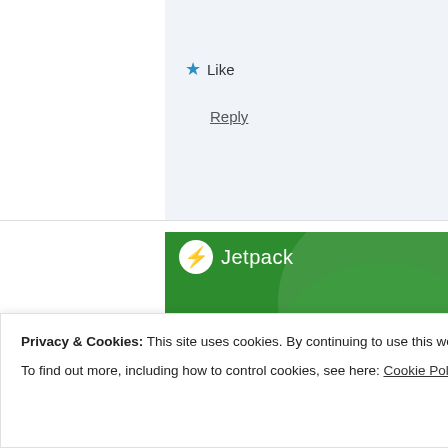[Figure (screenshot): Comment area with light blue-grey background, showing a Like button with blue star icon and a Reply link]
[Figure (infographic): Jetpack advertisement banner with green background showing logo, tagline 'The best real-time WordPress backup plugin' and 'Back up your site' CTA button]
Privacy & Cookies: This site uses cookies. By continuing to use this website, you agree to their use.
To find out more, including how to control cookies, see here: Cookie Policy
Close and accept